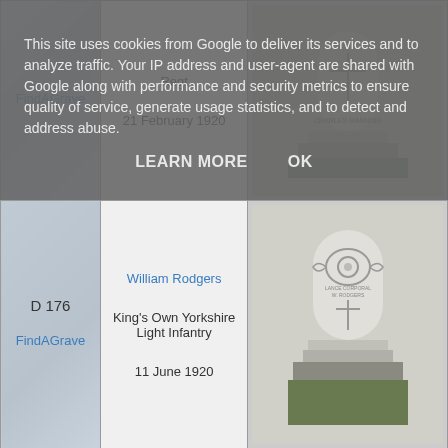This site uses cookies from Google to deliver its services and to analyze traffic. Your IP address and user-agent are shared with Google along with performance and security metrics to ensure quality of service, generate usage statistics, and to detect and address abuse.
LEARN MORE   OK
| ID/Source | Info | Image |
| --- | --- | --- |
| FindAGrave | Regt
21 February 1920 | [grave photo] |
| D 176
FindAGrave | William Rodgers
King's Own Yorkshire Light Infantry
11 June 1920 | [grave photo] |